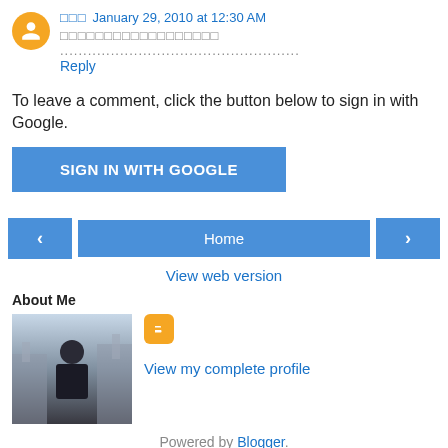□□□  January 29, 2010 at 12:30 AM
□□□□□□□□□□□□□□□□□□ ....................................................
Reply
To leave a comment, click the button below to sign in with Google.
[Figure (other): SIGN IN WITH GOOGLE button]
[Figure (other): Navigation buttons: left arrow, Home, right arrow]
View web version
About Me
[Figure (photo): Profile photo of a man in dark clothing outdoors with a cathedral in the background]
[Figure (logo): Blogger icon (orange rounded square with B)]
View my complete profile
Powered by Blogger.